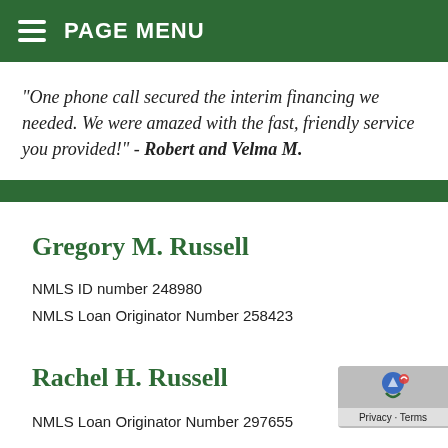PAGE MENU
"One phone call secured the interim financing we needed. We were amazed with the fast, friendly service you provided!" - Robert and Velma M.
Gregory M. Russell
NMLS ID number 248980
NMLS Loan Originator Number 258423
Rachel H. Russell
NMLS Loan Originator Number 297655